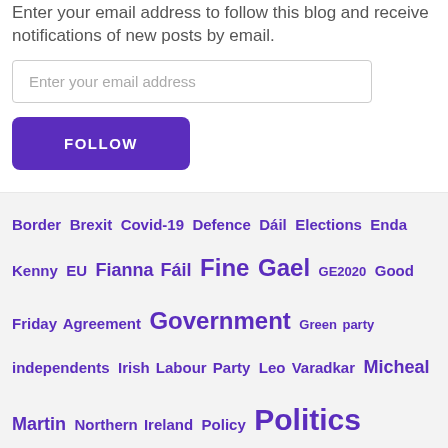Enter your email address to follow this blog and receive notifications of new posts by email.
[Figure (other): Email input field with placeholder 'Enter your email address']
[Figure (other): Purple FOLLOW button]
Border
Brexit
Covid-19
Defence
Dáil
Elections
Enda Kenny
EU
Fianna Fáil
Fine Gael
GE2020
Good Friday Agreement
Government
Green party
independents
Irish Labour Party
Leo Varadkar
Micheal Martin
Northern Ireland
Policy
Politics
referendum
Seanad
Sinn Féin
Social Media
Tanaiste
Taoiseach
UK politics
Uncategorized
US politics